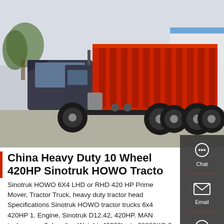[Figure (photo): Red Sinotruk HOWO dump truck parked in a yard with trees and a building in the background. The truck has a large red dump bed and is viewed from the side.]
China Heavy Duty 10 Wheel 420HP Sinotruk HOWO Tractor
Sinotruk HOWO 6X4 LHD or RHD 420 HP Prime Mover, Tractor Truck, heavy duty tractor head Specifications Sinotruk HOWO tractor trucks 6x4 420HP 1. Engine, Sinotruk D12.42, 420HP. MAN technonogy 2. Loading Weight: 40000kg to 60000KG 3. Superiority: Leader in heavy duty truck industry. 4,